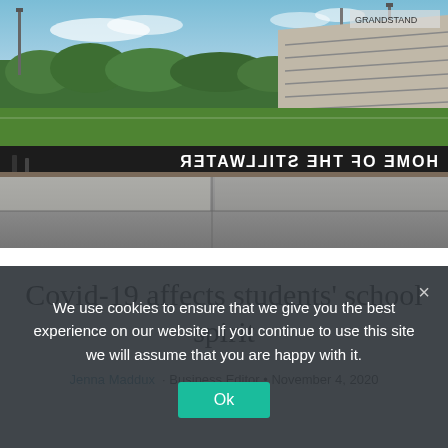[Figure (photo): Empty football stadium/track with bleachers on the right, green field visible, dark wall with mirrored text reading 'HOME OF THE STILLWATER', concrete pavement in foreground, trees in background under blue sky]
Covid-19 affects students' school spirit
Jenna Maddux · Business Editor • November 4, 2020
We use cookies to ensure that we give you the best experience on our website. If you continue to use this site we will assume that you are happy with it.